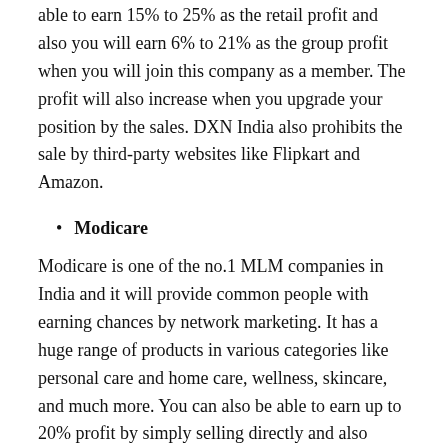able to earn 15% to 25% as the retail profit and also you will earn 6% to 21% as the group profit when you will join this company as a member. The profit will also increase when you upgrade your position by the sales. DXN India also prohibits the sale by third-party websites like Flipkart and Amazon.
Modicare
Modicare is one of the no.1 MLM companies in India and it will provide common people with earning chances by network marketing. It has a huge range of products in various categories like personal care and home care, wellness, skincare, and much more. You can also be able to earn up to 20% profit by simply selling directly and also much more with the help of the group sales performance.
Amway